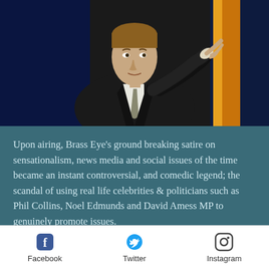[Figure (photo): A man in a dark suit and tie pointing finger at the camera, against a blue and orange lit background, appears to be a TV presenter or comedian on stage.]
Upon airing, Brass Eye's ground breaking satire on sensationalism, news media and social issues of the time became an instant controversial, and comedic legend; the scandal of using real life celebrities & politicians such as Phil Collins, Noel Edmunds and David Amess MP to genuinely promote issues.
Facebook  Twitter  Instagram